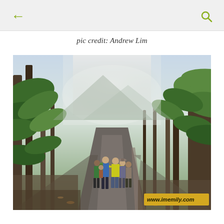← [back] [search]
pic credit: Andrew Lim
[Figure (photo): A group of hikers walking down a paved road flanked by tall trees and lush tropical forest, with misty mountains visible in the background. A watermark reading www.imemily.com appears in the bottom-right corner of the photo.]